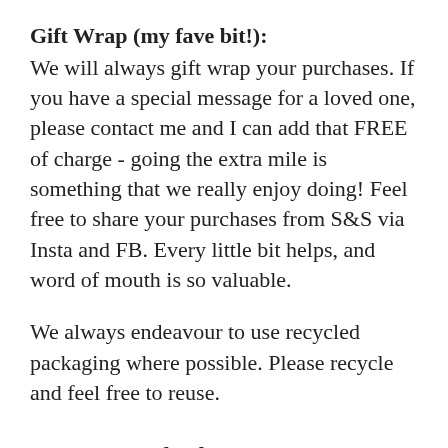Gift Wrap (my fave bit!):
We will always gift wrap your purchases. If you have a special message for a loved one, please contact me and I can add that FREE of charge - going the extra mile is something that we really enjoy doing! Feel free to share your purchases from S&S via Insta and FB. Every little bit helps, and word of mouth is so valuable.
We always endeavour to use recycled packaging where possible. Please recycle and feel free to reuse.
Returns & Refunds:
Please do contact us if you wish to return